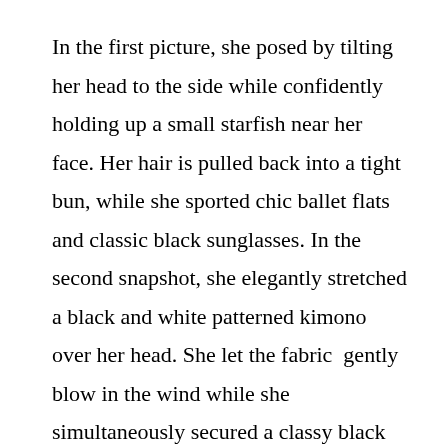In the first picture, she posed by tilting her head to the side while confidently holding up a small starfish near her face. Her hair is pulled back into a tight bun, while she sported chic ballet flats and classic black sunglasses. In the second snapshot, she elegantly stretched a black and white patterned kimono over her head. She let the fabric  gently blow in the wind while she simultaneously secured a classy black sunhat on her head.
And finally, in the third photo, she sassily placed her hand behind her hip while she starred longingly into the distance. “#Sliving Summer is round the corner!” the caption read, followed by a fitting sunshine emoji